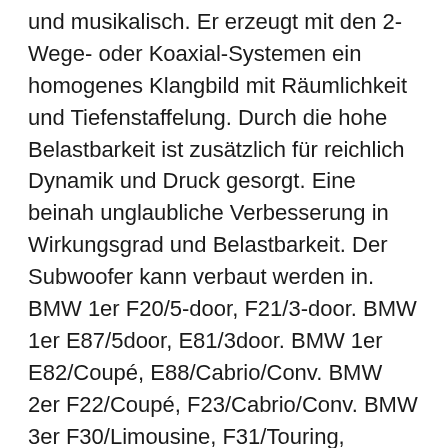und musikalisch. Er erzeugt mit den 2-Wege- oder Koaxial-Systemen ein homogenes Klangbild mit Räumlichkeit und Tiefenstaffelung. Durch die hohe Belastbarkeit ist zusätzlich für reichlich Dynamik und Druck gesorgt. Eine beinah unglaubliche Verbesserung in Wirkungsgrad und Belastbarkeit. Der Subwoofer kann verbaut werden in. BMW 1er F20/5-door, F21/3-door. BMW 1er E87/5door, E81/3door. BMW 1er E82/Coupé, E88/Cabrio/Conv. BMW 2er F22/Coupé, F23/Cabrio/Conv. BMW 3er F30/Limousine, F31/Touring, F34/GT. BMW 3er E90/Limousine, E91/Touring, E92/Coupé, E93/Cabrio/Conv. BMW 4er F32/Coupé, F33/Cabrio/Conv. BMW 4er F36/Grand Coupé/4door. BMW 5er F10/Limousine, F11/Touring, F07/GT. BMW 5er E60/Limousine, E61/Touring. BMW 6er F12/Coupé, F13/Cabrio/Conv. BMW 6er F06/Grand Coupé/4door. BMW 7er F01/Limousine, F02/Limousine, Langversion/long version. BMW 7er E65/Limousine, E66/Limousine, Langversion/long version. BMW X1 E84/SUV. BMW X3 F25/SUV. BMW X3 E83/SUV. BMW X4 F26/SUV. BMW X5 F15/SUV. BMW X5 E70/SUV. BMW X6 F16/SUV. BMW X6